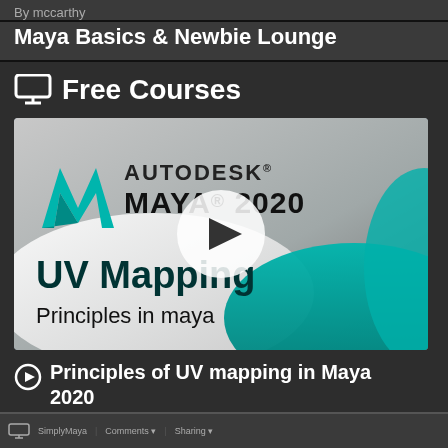By mccarthy
Maya Basics & Newbie Lounge
Free Courses
[Figure (screenshot): Autodesk Maya 2020 UV Mapping Principles in maya video thumbnail with play button overlay]
Principles of UV mapping in Maya 2020
[Figure (screenshot): Bottom preview bar showing SimplyMaya website interface]